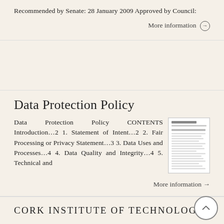Recommended by Senate: 28 January 2009 Approved by Council:
More information →
Data Protection Policy
Data Protection Policy CONTENTS Introduction…2 1. Statement of Intent…2 2. Fair Processing or Privacy Statement…3 3. Data Uses and Processes…4 4. Data Quality and Integrity…4 5. Technical and
[Figure (photo): Thumbnail image of the Data Protection Policy document]
More information →
CORK INSTITUTE OF TECHNOLOGY